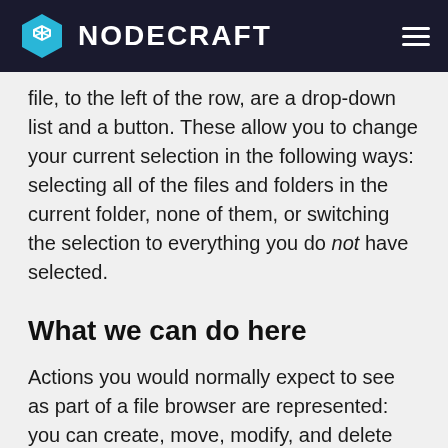NODECRAFT
file, to the left of the row, are a drop-down list and a button. These allow you to change your current selection in the following ways: selecting all of the files and folders in the current folder, none of them, or switching the selection to everything you do not have selected.
What we can do here
Actions you would normally expect to see as part of a file browser are represented: you can create, move, modify, and delete files and folders as much as you want.